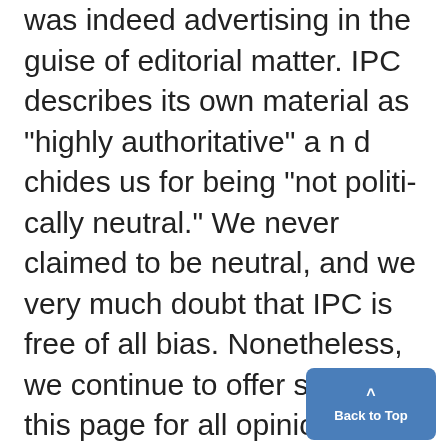was indeed advertising in the guise of editorial matter. IPC describes its own material as "highly authoritative" a n d chides us for being "not politically neutral." We never claimed to be neutral, and we very much doubt that IPC is free of all bias. Nonetheless, we continue to offer space on this page for all opinions and statements. -Dan Biddle Editor in Chief black grads To The Daily...